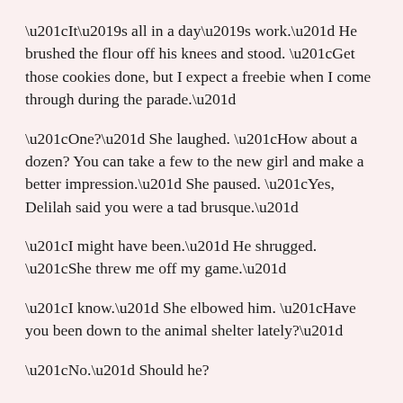“It’s all in a day’s work.” He brushed the flour off his knees and stood. “Get those cookies done, but I expect a freebie when I come through during the parade.”
“One?” She laughed. “How about a dozen? You can take a few to the new girl and make a better impression.” She paused. “Yes, Delilah said you were a tad brusque.”
“I might have been.” He shrugged. “She threw me off my game.”
“I know.” She elbowed him. “Have you been down to the animal shelter lately?”
“No.” Should he?
“My sister says there’s a new dog there that might be up your alley. Shy little thing. Sweet-natured,” Margaret said. “I know you want a guard dog, but this one is so adorable.”
“A small dog?” He hadn’t put much thought into adopting a dog. He had his work at the welcome center. Would a dog fit in? Wreck